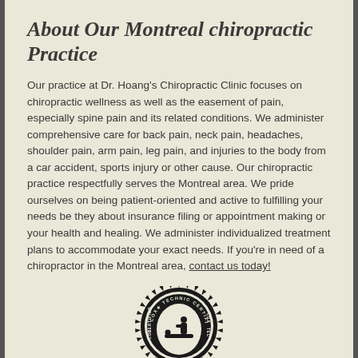About Our Montreal chiropractic Practice
Our practice at Dr. Hoang's Chiropractic Clinic focuses on chiropractic wellness as well as the easement of pain, especially spine pain and its related conditions. We administer comprehensive care for back pain, neck pain, headaches, shoulder pain, arm pain, leg pain, and injuries to the body from a car accident, sports injury or other cause. Our chiropractic practice respectfully serves the Montreal area. We pride ourselves on being patient-oriented and active to fulfilling your needs be they about insurance filing or appointment making or your health and healing. We administer individualized treatment plans to accommodate your exact needs. If you're in need of a chiropractor in the Montreal area, contact us today!
[Figure (logo): Cox Technic Certified seal — circular black and white emblem with spiky border, text reading 'COX TECHNIC CERTIFIED' around the edge and 'COX CERTIFIED' on sides, with a figure of a chiropractor and patient inside.]